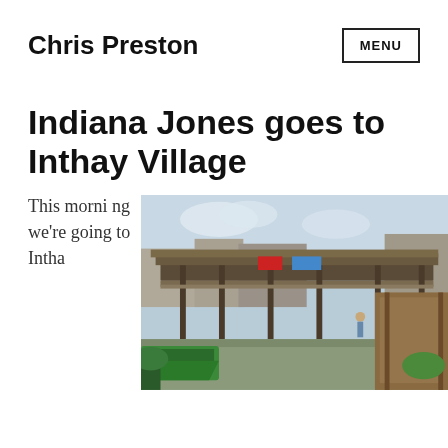Chris Preston
Indiana Jones goes to Inthay Village
This morning we're going to Inthay
[Figure (photo): A wooden bridge/walkway structure over water with green boats in the foreground and buildings in the background, at Inthay Village (Inle Lake area, Myanmar).]